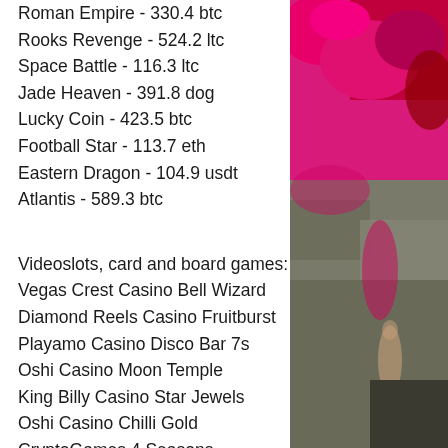Roman Empire - 330.4 btc
Rooks Revenge - 524.2 ltc
Space Battle - 116.3 ltc
Jade Heaven - 391.8 dog
Lucky Coin - 423.5 btc
Football Star - 113.7 eth
Eastern Dragon - 104.9 usdt
Atlantis - 589.3 btc
Videoslots, card and board games:
Vegas Crest Casino Bell Wizard
Diamond Reels Casino Fruitburst
Playamo Casino Disco Bar 7s
Oshi Casino Moon Temple
King Billy Casino Star Jewels
Oshi Casino Chilli Gold
CryptoGames 4 Seasons
1xSlots Casino Fat Lady Sings
Bitcoin Penguin Casino Mystic Mirror
1xBit Casino Fresh Fortune
Cloudbet Casino Jewel Box
[Figure (photo): Decorative photo showing pink/magenta flowers or fabric and a person in the lower portion, against a rocky background.]